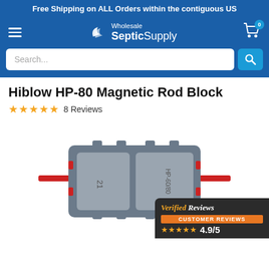Free Shipping on ALL Orders within the contiguous US
[Figure (logo): Wholesale Septic Supply logo with navigation hamburger menu and cart icon]
Search...
Hiblow HP-80 Magnetic Rod Block
★★★★★ 8 Reviews
[Figure (photo): Photo of Hiblow HP-80 Magnetic Rod Block - a grey rectangular magnetic rod block component with red rods extending from sides, labeled HP-60/80 and 21]
[Figure (logo): Verified Reviews badge with orange CUSTOMER REVIEWS label and 4.9/5 star rating]